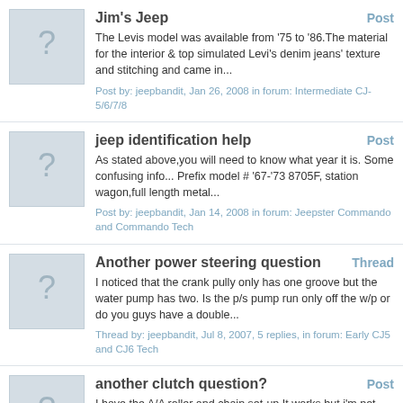Jim's Jeep | Post
The Levis model was available from '75 to '86.The material for the interior & top simulated Levi's denim jeans' texture and stitching and came in...
Post by: jeepbandit, Jan 26, 2008 in forum: Intermediate CJ-5/6/7/8
jeep identification help | Post
As stated above,you will need to know what year it is. Some confusing info... Prefix model # '67-'73 8705F, station wagon,full length metal...
Post by: jeepbandit, Jan 14, 2008 in forum: Jeepster Commando and Commando Tech
Another power steering question | Thread
I noticed that the crank pully only has one groove but the water pump has two. Is the p/s pump run only off the w/p or do you guys have a double...
Thread by: jeepbandit, Jul 8, 2007, 5 replies, in forum: Early CJ5 and CJ6 Tech
another clutch question? | Post
I have the A/A roller and chain set-up It works but i'm not that pleased with it. I am looking into a hydraulic set-up. As mentioned above try...
Post by: jeepbandit, Jul 8, 2007 in forum: Early CJ5 and CJ6 Tech
2 piece driveshaft rarity? | Post
Sorry, maybe hyjack was a stong word. I'm totaly not familiar with this set